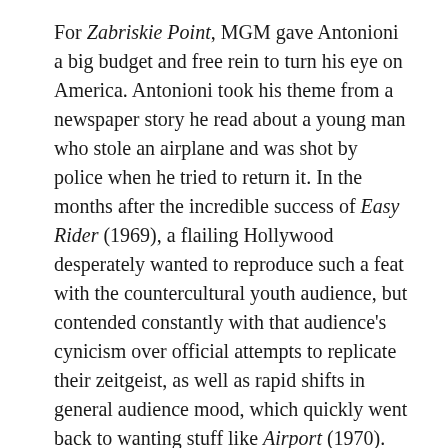For Zabriskie Point, MGM gave Antonioni a big budget and free rein to turn his eye on America. Antonioni took his theme from a newspaper story he read about a young man who stole an airplane and was shot by police when he tried to return it. In the months after the incredible success of Easy Rider (1969), a flailing Hollywood desperately wanted to reproduce such a feat with the countercultural youth audience, but contended constantly with that audience's cynicism over official attempts to replicate their zeitgeist, as well as rapid shifts in general audience mood, which quickly went back to wanting stuff like Airport (1970).